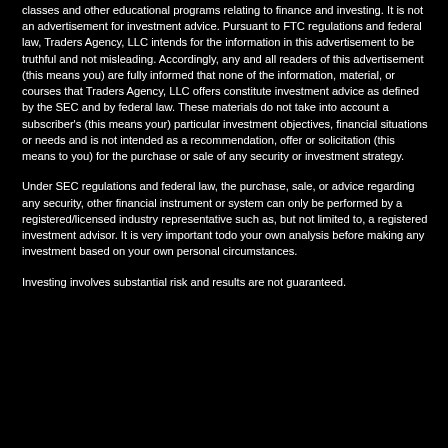classes and other educational programs relating to finance and investing. It is not an advertisement for investment advice. Pursuant to FTC regulations and federal law, Traders Agency, LLC intends for the information in this advertisement to be truthful and not misleading. Accordingly, any and all readers of this advertisement (this means you) are fully informed that none of the information, material, or courses that Traders Agency, LLC offers constitute investment advice as defined by the SEC and by federal law. These materials do not take into account a subscriber's (this means your) particular investment objectives, financial situations or needs and is not intended as a recommendation, offer or solicitation (this means to you) for the purchase or sale of any security or investment strategy.
Under SEC regulations and federal law, the purchase, sale, or advice regarding any security, other financial instrument or system can only be performed by a registered/licensed industry representative such as, but not limited to, a registered investment advisor. It is very important todo your own analysis before making any investment based on your own personal circumstances.
Investing involves substantial risk and results are not guaranteed.